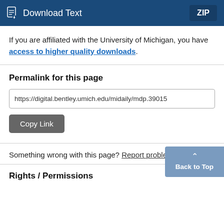[Figure (screenshot): Download Text button with ZIP label on dark blue bar]
If you are affiliated with the University of Michigan, you have access to higher quality downloads.
Permalink for this page
https://digital.bentley.umich.edu/midaily/mdp.39015
Copy Link
Something wrong with this page? Report problem.
Rights / Permissions